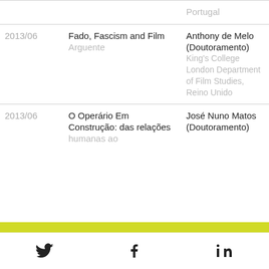| Year | Title / Role | Person / Institution |
| --- | --- | --- |
|  |  | Portugal |
| 2013/06 | Fado, Fascism and Film
Arguente | Anthony de Melo (Doutoramento)
King's College London Department of Film Studies, Reino Unido |
| 2013/06 | O Operário Em Construção: das relações humanas ao | José Nuno Matos (Doutoramento) |
Twitter · Facebook · LinkedIn